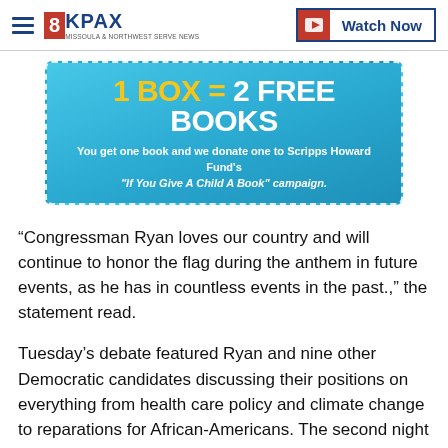8KPAX | Watch Now
[Figure (infographic): Advertisement banner: '1 BOX = 2 FREE BOOKS. You get one book and we donate one to Scripps Howard Fund's "If You Give A Child A Book" campaign.']
“Congressman Ryan loves our country and will continue to honor the flag during the anthem in future events, as he has in countless events in the past.,” the statement read.
Tuesday’s debate featured Ryan and nine other Democratic candidates discussing their positions on everything from health care policy and climate change to reparations for African-Americans. The second night of CNN’s Democratic debate will take place